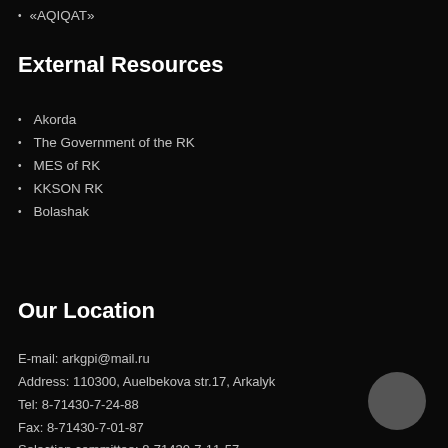«AQIQAT»
External Resources
Akorda
The Government of the RK
MES of RK
KKSON RK
Bolashak
Our Location
E-mail: arkgpi@mail.ru
Address: 110300, Auelbekova str.17, Arkalyk
Tel: 8-71430-7-24-88
Fax: 8-71430-7-01-87
Selection committee: 8-71430-7-11-57
Call center: +77143049502